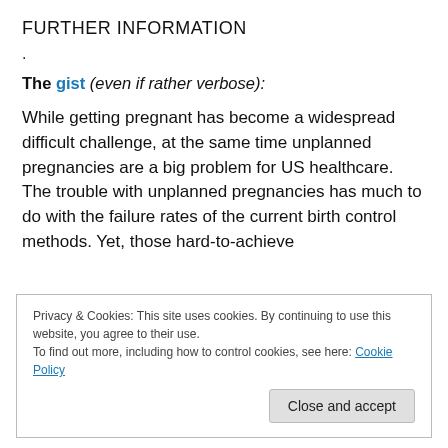FURTHER INFORMATION
.
The gist (even if rather verbose):
While getting pregnant has become a widespread difficult challenge, at the same time unplanned pregnancies are a big problem for US healthcare. The trouble with unplanned pregnancies has much to do with the failure rates of the current birth control methods. Yet, those hard-to-achieve
Privacy & Cookies: This site uses cookies. By continuing to use this website, you agree to their use.
To find out more, including how to control cookies, see here: Cookie Policy
Close and accept